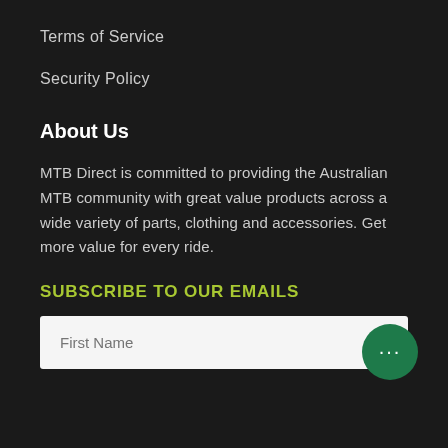Terms of Service
Security Policy
About Us
MTB Direct is committed to providing the Australian MTB community with great value products across a wide variety of parts, clothing and accessories. Get more value for every ride.
SUBSCRIBE TO OUR EMAILS
First Name